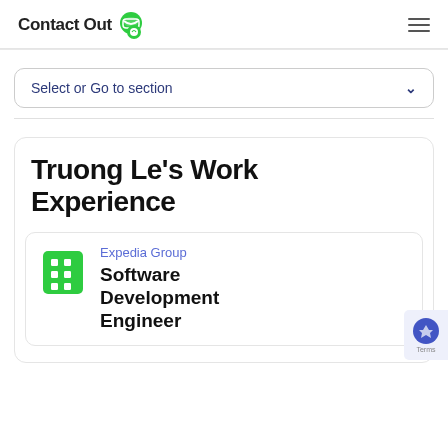ContactOut
Select or Go to section
Truong Le's Work Experience
Expedia Group
Software Development Engineer